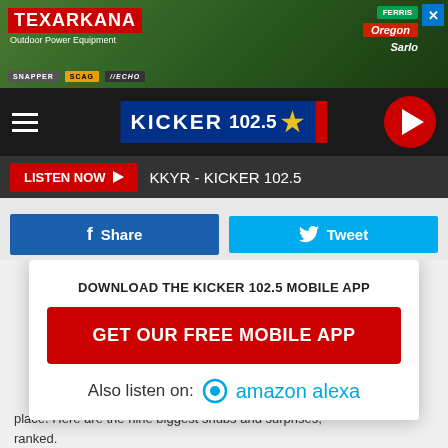[Figure (screenshot): Texarkana Outdoor Power Equipment advertisement banner with logos for Snapper, SCAG, Echo, Oregon, Ferris, and Sarlo]
[Figure (logo): Kicker 102.5 radio station navigation bar with hamburger menu, logo, and play button]
LISTEN NOW ▶   KKYR - KICKER 102.5
f Share
Tweet
2021 CMA AWARDS NOMINATIONS: SNUBS AND SURPRISES
The 2021 CMA Awards will air on ABC on Nov. 10. Eric Church...place. Here are the nine biggest snubs and surprises, ranked.
DOWNLOAD THE KICKER 102.5 MOBILE APP
GET OUR FREE MOBILE APP
Also listen on:  amazon alexa